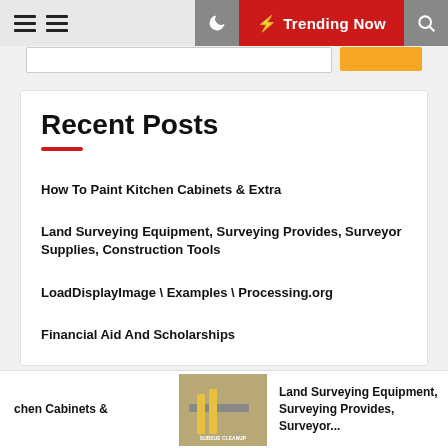Trending Now
Recent Posts
How To Paint Kitchen Cabinets & Extra
Land Surveying Equipment, Surveying Provides, Surveyor Supplies, Construction Tools
LoadDisplayImage \ Examples \ Processing.org
Financial Aid And Scholarships
chen Cabinets &   Land Surveying Equipment, Surveying Provides, Surveyor...